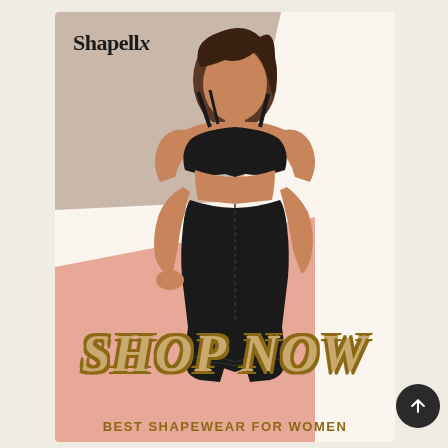[Figure (photo): Shapellx advertisement showing a woman wearing black shapewear (open-bust bodysuit with high-waist shorts) posing against a geometric background of taupe, cream, and pink sections. The Shapellx logo appears at top left. Large 'SHOP NOW' text overlays the bottom portion of the image. Bottom text reads 'BEST SHAPEWEAR FOR WOMEN'. A dark circular scroll-up button appears at bottom right.]